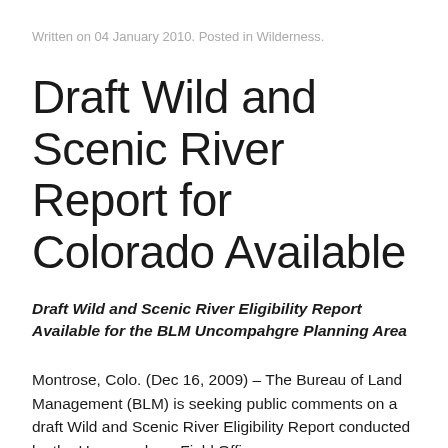Written on 04 January 2010. Posted in Wilderness.
Draft Wild and Scenic River Report for Colorado Available
Draft Wild and Scenic River Eligibility Report Available for the BLM Uncompahgre Planning Area
Montrose, Colo. (Dec 16, 2009) – The Bureau of Land Management (BLM) is seeking public comments on a draft Wild and Scenic River Eligibility Report conducted by the Uncompahgre Field Office